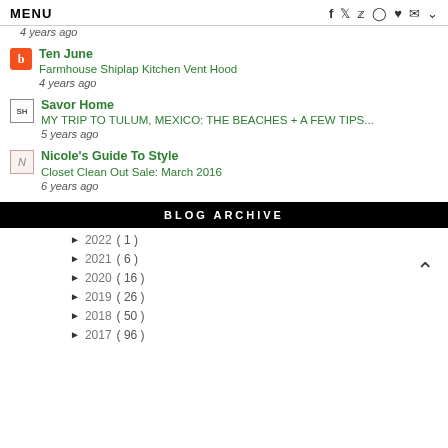MENU | social icons: f, twitter, pinterest, instagram, heart, mail, dropdown
4 years ago
Ten June — Farmhouse Shiplap Kitchen Vent Hood — 4 years ago
Savor Home — MY TRIP TO TULUM, MEXICO: THE BEACHES + A FEW TIPS... — 5 years ago
Nicole's Guide To Style — Closet Clean Out Sale: March 2016 — 6 years ago
BLOG ARCHIVE
► 2022 ( 1 )
► 2021 ( 6 )
► 2020 ( 16 )
► 2019 ( 26 )
► 2018 ( 50 )
► 2017 ( 96 )